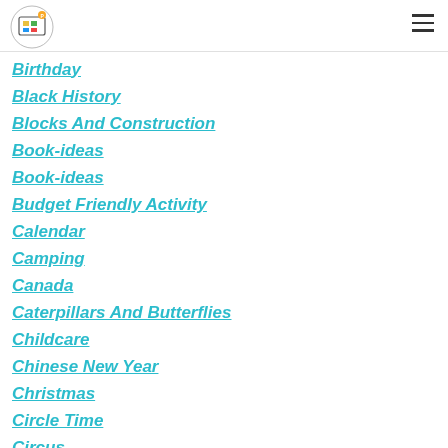[Logo: Build Printables Co.] [Hamburger menu icon]
Birthday
Black History
Blocks And Construction
Book-ideas
Book-ideas
Budget Friendly Activity
Calendar
Camping
Canada
Caterpillars And Butterflies
Childcare
Chinese New Year
Christmas
Circle Time
Circus
Classroom Management